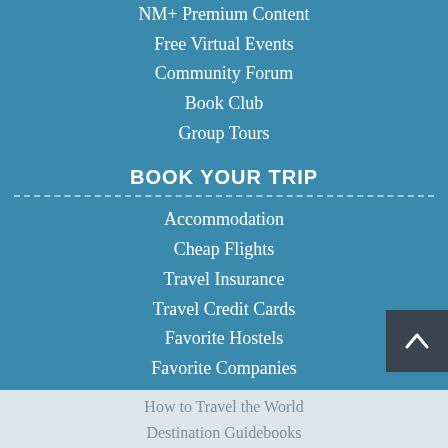NM+ Premium Content
Free Virtual Events
Community Forum
Book Club
Group Tours
BOOK YOUR TRIP
Accommodation
Cheap Flights
Travel Insurance
Travel Credit Cards
Favorite Hostels
Favorite Companies
BOOKS AND COURSES
Ten Years a Nomad
How to Travel the World
Destination Guidebooks